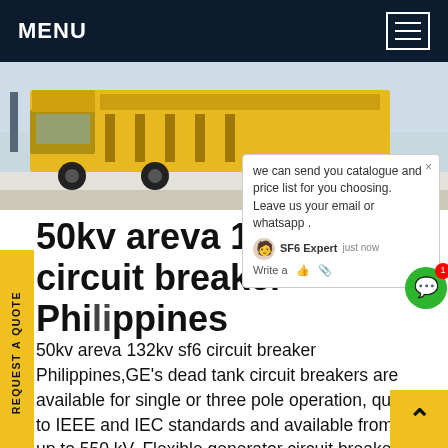MENU
[Figure (photo): Yellow truck/vehicle on snowy ground, outdoor scene]
50kv areva 132kv sf6 circuit breaker Philippines
50kv areva 132kv sf6 circuit breaker Philippines,GE's dead tank circuit breakers are available for single or three pole operation, qualified to IEEE and IEC standards and available from 38 kV up to 550 kV. Flexible generator circuit breaker solutions for new and refurbished power plants up to 50,000 A and 1,500 MW. GE's HYpact is a hybrid, compact switchgear assembly designed for space andGet